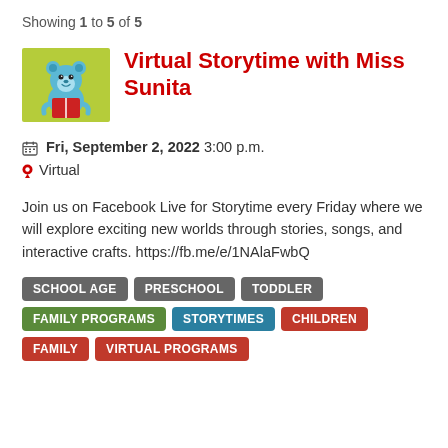Showing 1 to 5 of 5
[Figure (illustration): Cartoon blue bear holding a red book on a yellow-green background]
Virtual Storytime with Miss Sunita
Fri, September 2, 2022 3:00 p.m.
Virtual
Join us on Facebook Live for Storytime every Friday where we will explore exciting new worlds through stories, songs, and interactive crafts. https://fb.me/e/1NAlaFwbQ
SCHOOL AGE
PRESCHOOL
TODDLER
FAMILY PROGRAMS
STORYTIMES
CHILDREN
FAMILY
VIRTUAL PROGRAMS